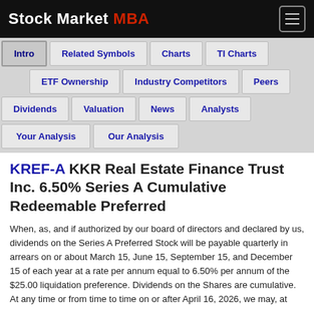Stock Market MBA
Intro
Related Symbols
Charts
TI Charts
ETF Ownership
Industry Competitors
Peers
Dividends
Valuation
News
Analysts
Your Analysis
Our Analysis
KREF-A KKR Real Estate Finance Trust Inc. 6.50% Series A Cumulative Redeemable Preferred
When, as, and if authorized by our board of directors and declared by us, dividends on the Series A Preferred Stock will be payable quarterly in arrears on or about March 15, June 15, September 15, and December 15 of each year at a rate per annum equal to 6.50% per annum of the $25.00 liquidation preference. Dividends on the Shares are cumulative. At any time or from time to time on or after April 16, 2026, we may, at